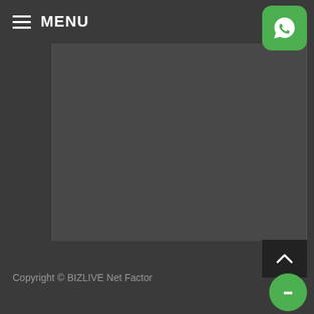MENU
[Figure (screenshot): WhatsApp green rounded square button with phone icon]
[Figure (screenshot): Empty textarea / text input box]
Please prove you are human by selecting the Flag.
[Figure (infographic): CAPTCHA widget showing three icons: car, flag, and airplane in grey]
[Figure (screenshot): Light grey submit/button rectangle]
Copyright © BIZLIVE Net Factor